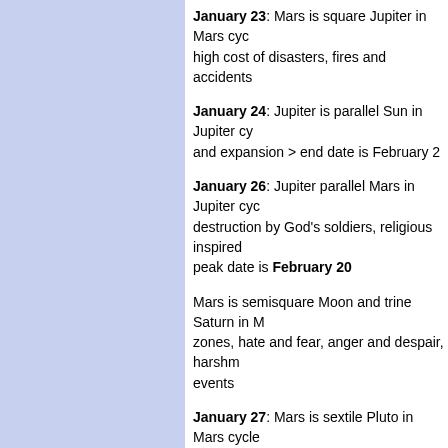January 23: Mars is square Jupiter in Mars cycle... high cost of disasters, fires and accidents
January 24: Jupiter is parallel Sun in Jupiter cycle... and expansion > end date is February 2
January 26: Jupiter parallel Mars in Jupiter cycle... destruction by God's soldiers, religious inspired... peak date is February 20
Mars is semisquare Moon and trine Saturn in M... zones, hate and fear, anger and despair, harshness... events
January 27: Mars is sextile Pluto in Mars cycle... spiritual warriors, terror attacks, group accidents...
January 29: Jupiter sesquisquare Jupiter in Jupiter cycle... crisis, problems for the banking sector, disturbing... February 6
Mars is parallel Mercury in Mars cycle – inflammation... harms way, accidents and fires